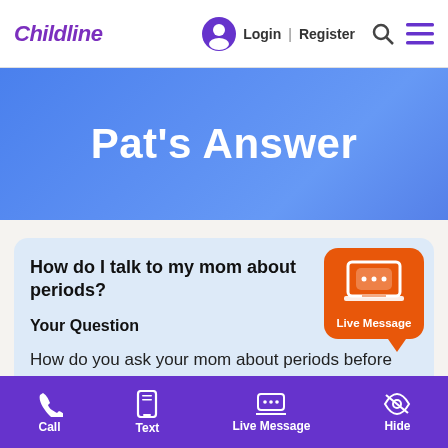Childline | Login | Register
Pat's Answer
How do I talk to my mom about periods?
Your Question
How do you ask your mom about periods before you get it?
Call | Text | Live Message | Hide